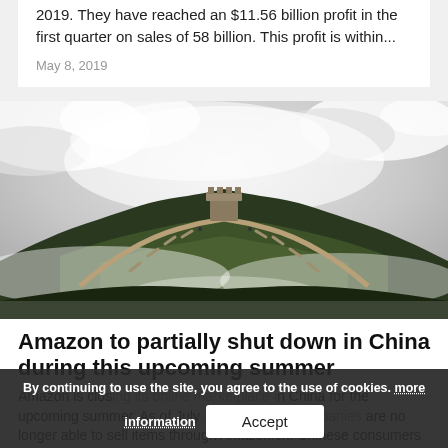2019. They have reached an $11.56 billion profit in the first quarter on sales of 58 billion. This profit is within...
May 8, 2019
[Figure (photo): Photograph of the Great Wall of China on a misty/cloudy day, winding across a green hill surrounded by clouds and fog.]
Amazon to partially shut down in China during this upcoming summer
Amazon is closing its online marketplace in China for the upcoming summer. As of July 18th, Chinese companies are no longer able to sell items through Amazon.cn. Chinese consumers can
By continuing to use the site, you agree to the use of cookies. more information Accept